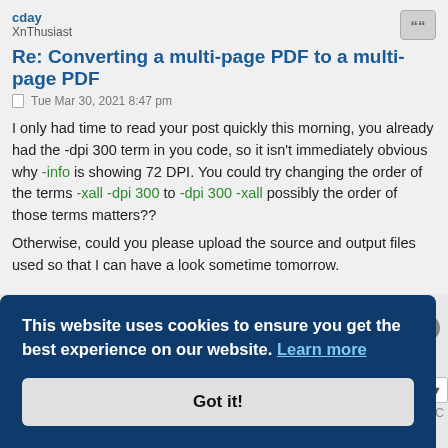cday
XnThusiast
Re: Converting a multi-page PDF to a multi-page PDF
Tue Mar 30, 2021 8:47 pm
I only had time to read your post quickly this morning, you already had the -dpi 300 term in you code, so it isn't immediately obvious why -info is showing 72 DPI. You could try changing the order of the terms -xall -dpi 300 to -dpi 300 -xall possibly the order of those terms matters??
Otherwise, could you please upload the source and output files used so that I can have a look sometime tomorrow.
Post Reply
This website uses cookies to ensure you get the best experience on our website. Learn more
Got it!